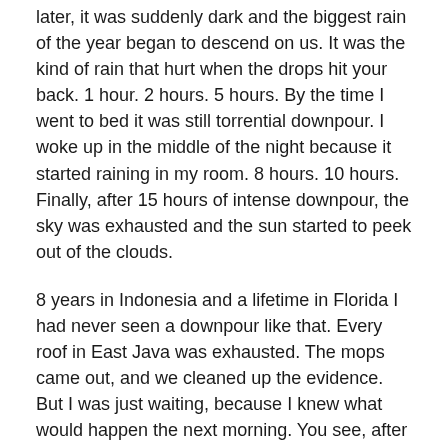later, it was suddenly dark and the biggest rain of the year began to descend on us. It was the kind of rain that hurt when the drops hit your back. 1 hour. 2 hours. 5 hours. By the time I went to bed it was still torrential downpour. I woke up in the middle of the night because it started raining in my room. 8 hours. 10 hours. Finally, after 15 hours of intense downpour, the sky was exhausted and the sun started to peek out of the clouds.
8 years in Indonesia and a lifetime in Florida I had never seen a downpour like that. Every roof in East Java was exhausted. The mops came out, and we cleaned up the evidence. But I was just waiting, because I knew what would happen the next morning. You see, after the biggest rains, the sky clears, all the smog, trash, pollution, and junk is cleared away and what's left it just God's beautiful creation. It's my favorite part. The bigger the rain, the greater the view.